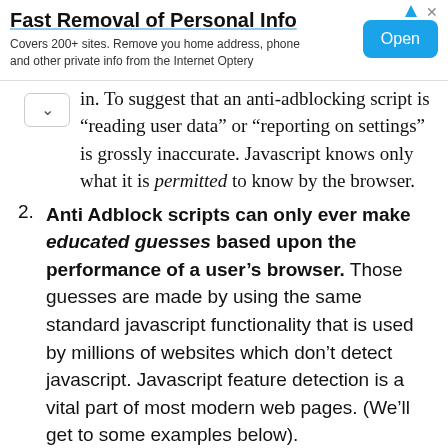[Figure (other): Advertisement banner: 'Fast Removal of Personal Info' with Open button. Covers 200+ sites. Remove you home address, phone and other private info from the Internet Optery]
in. To suggest that an anti-adblocking script is "reading user data" or "reporting on settings" is grossly inaccurate. Javascript knows only what it is permitted to know by the browser.
Anti Adblock scripts can only ever make educated guesses based upon the performance of a user's browser. Those guesses are made by using the same standard javascript functionality that is used by millions of websites which don't detect javascript. Javascript feature detection is a vital part of most modern web pages. (We'll get to some examples below).